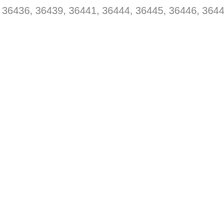36436, 36439, 36441, 36444, 36445, 36446, 36449